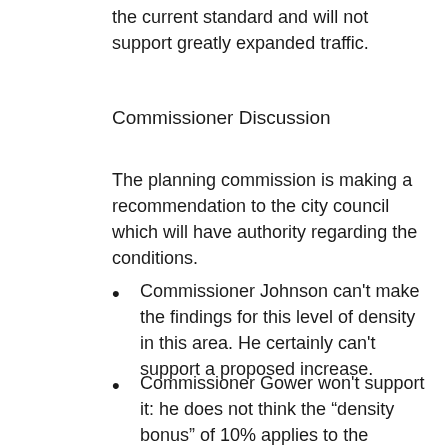the current standard and will not support greatly expanded traffic.
Commissioner Discussion
The planning commission is making a recommendation to the city council which will have authority regarding the conditions.
Commissioner Johnson can’t make the findings for this level of density in this area. He certainly can’t support a proposed increase.
Commissioner Gower won’t support it: he does not think the “density bonus” of 10% applies to the MGOD as a whole. He thinks the 3,000 unit cap stands